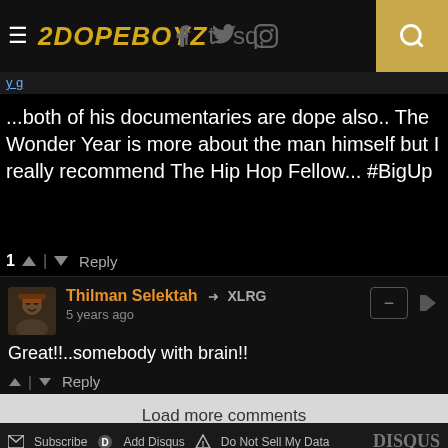2DOPEBOYZ
...both of his documentaries are dope also.. The Wonder Year is more about the man himself but I really recommend The Hip Hop Fellow... #BigUp
1 ^ | v Reply
Thilman Selektah → XLRG
5 years ago
Great!!..somebody with brain!!
^ | v Reply
Load more comments
Subscribe  Add Disqus  Do Not Sell My Data  DISQUS
Sponsored